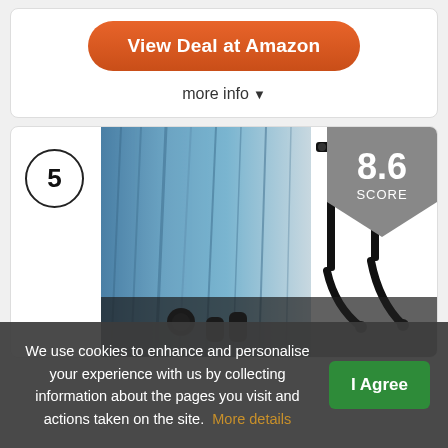View Deal at Amazon
more info ▾
[Figure (photo): Product image showing curtain tiebacks and black metal curtain rod brackets on a blue fabric curtain background, with a score badge showing 8.6 and a rank circle showing 5]
We use cookies to enhance and personalise your experience with us by collecting information about the pages you visit and actions taken on the site. More details
I Agree